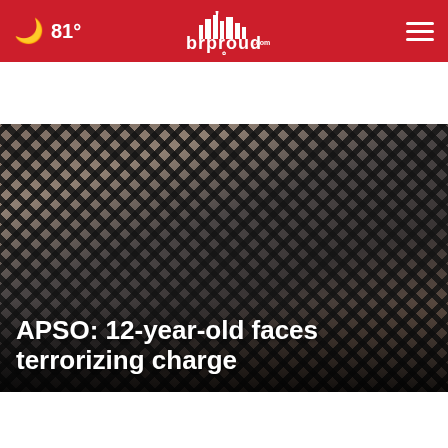🌙 81° brproud.com ☰
[Figure (photo): Chain-link fence close-up with brick building background, hero image for news story]
APSO: 12-year-old faces terrorizing charge
[Figure (photo): Close-up portrait of a young Black woman/girl smiling, video thumbnail with play button]
[Figure (photo): Nighttime scene with police vehicles, video thumbnail with play button and close button]
[Figure (infographic): Advertisement banner: Learn More / Schedule your appointment Today! / Baton Rouge Clinic AMC Pediatrics]
New law... / ...confirmed, a